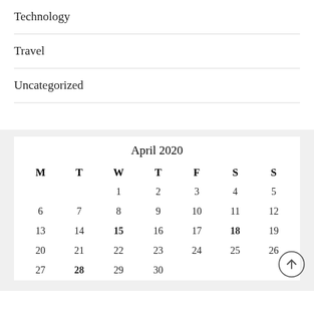Technology
Travel
Uncategorized
| M | T | W | T | F | S | S |
| --- | --- | --- | --- | --- | --- | --- |
|  |  | 1 | 2 | 3 | 4 | 5 |
| 6 | 7 | 8 | 9 | 10 | 11 | 12 |
| 13 | 14 | 15 | 16 | 17 | 18 | 19 |
| 20 | 21 | 22 | 23 | 24 | 25 | 26 |
| 27 | 28 | 29 | 30 |  |  |  |